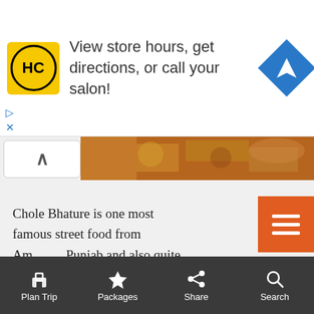[Figure (screenshot): Advertisement banner with HC logo and text 'View store hours, get directions, or call your salon!' with a blue direction arrow icon]
[Figure (photo): Partial image of food (Chole Bhature) visible at top]
Chole Bhature is one most famous street food from Amritsar, Punjab and also quite popular in other parts of India. It is a must try Indian Brunch whenever you are stopping by a highway dhaba.
Also Read
Best Cities to Visit in India if you are a Hardcore Vegetarian
Plan Trip  Packages  Share  Search